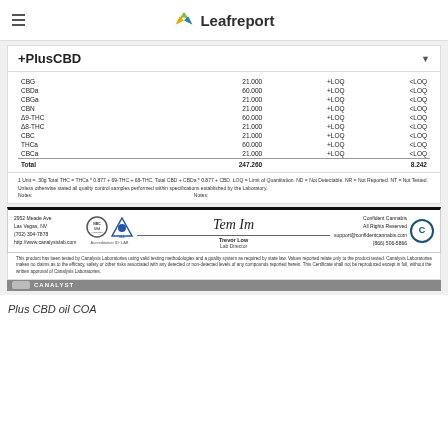Leafreport
+PlusCBD
|  |  | +LOQ | <LOQ |
| --- | --- | --- | --- |
| CBG | 21.000 | +LOQ | <LOQ |
| CBDa | 60.000 | +LOQ | <LOQ |
| CBGa | 21.000 | +LOQ | <LOQ |
| CBN | 21.000 | +LOQ | <LOQ |
| Δ9-THC | 60.000 | +LOQ | <LOQ |
| Δ8-THC | 21.000 | +LOQ | <LOQ |
| CBC | 21.000 | +LOQ | <LOQ |
| THCa | 60.000 | +LOQ | <LOQ |
| CBCa | 21.000 | +LOQ | <LOQ |
| Total | 247.260 |  | 8.242 |
1 Unit = .30g Total THC = THCa * 0.877 + 69-THC + 68-THC, Total CBD + CBDa * 0.877 + CBD. LOQ = Limit of Quantitation. ND = Not Detectable. NR = Not Reported. NT = Not Tested. Unless otherwise stated all quality control samples performed within specifications established by the Laboratory. Notes:
Notes:
2952 Meade Ave Las Vegas, NV (702) 304-7878 http://www.canalysislab.com
Trevor Low Lab Director
Confident Cannabis All Rights Reserved support@confidentcannabis.com (866) 506-5866
This product has been tested by Canalysis Laboratories using valid testing methodologies and a quality system as required by state law. Values reported relate only to the product tested. Canalysis Laboratories makes no claims as to the efficacy, safety or other risks associated with any detected or non-detected levels of any compounds reported herein. This Certificate shall not be reproduced except in full, without the written approval of Canalysis Laboratories.
Plus CBD oil COA